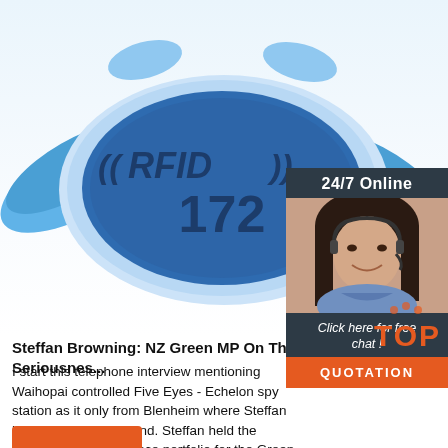[Figure (photo): Blue RFID wristband/tag showing '((RFID))' and '172' printed on a blue oval chip in the center, with blue plastic straps on either side, on a white background.]
[Figure (photo): Advertisement sidebar: '24/7 Online' header, photo of a woman with a headset smiling, text 'Click here for free chat!', and an orange QUOTATION button.]
[Figure (illustration): Orange 'TOP' badge with pawprint dots above the letters.]
Steffan Browning: NZ Green MP On The Seriousnes...
I start this telephone interview mentioning Waihopai controlled Five Eyes - Echelon spy station as it only from Blenheim where Steffan lives in the South Island. Steffan held the Security and Intelligence portfolio for the Green Party for many years. Thus we both concur that there is a very good chance that our telephone interview was being recorded - as that is ...